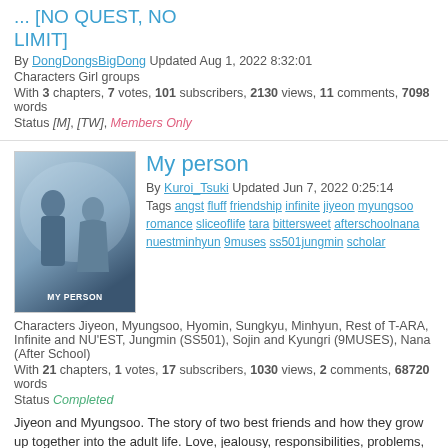... [NO QUEST, NO LIMIT]
By DongDongsBigDong Updated Aug 1, 2022 8:32:01
Characters Girl groups
With 3 chapters, 7 votes, 101 subscribers, 2130 views, 11 comments, 7098 words
Status [M], [TW], Members Only
My person
[Figure (photo): Cover image for 'My person' story showing two people in a winter/snowy scene]
By Kuroi_Tsuki Updated Jun 7, 2022 0:25:14
Tags angst fluff friendship infinite jiyeon myungsoo romance sliceoflife tara bittersweet afterschoolnana nuestminhyun 9muses ss501jungmin scholar
Characters Jiyeon, Myungsoo, Hyomin, Sungkyu, Minhyun, Rest of T-ARA, Infinite and NU'EST, Jungmin (SS501), Sojin and Kyungri (9MUSES), Nana (After School)
With 21 chapters, 1 votes, 17 subscribers, 1030 views, 2 comments, 68720 words
Status Completed
Jiyeon and Myungsoo. The story of two best friends and how they grow up together into the adult life. Love, jealousy, responsibilities, problems, friendship and misunderstandings. Will they be able to continue being together?
My Girlfriend Is An Idol? (SEASON 2)